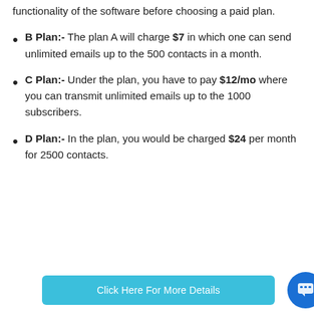functionality of the software before choosing a paid plan.
B Plan:- The plan A will charge $7 in which one can send unlimited emails up to the 500 contacts in a month.
C Plan:- Under the plan, you have to pay $12/mo where you can transmit unlimited emails up to the 1000 subscribers.
D Plan:- In the plan, you would be charged $24 per month for 2500 contacts.
Click Here For More Details